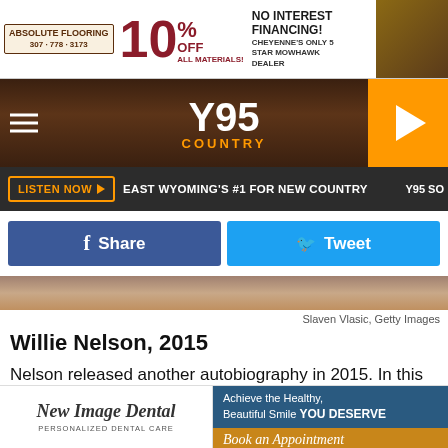[Figure (screenshot): Advertisement banner for Absolute Flooring: 10% OFF ALL MATERIALS, NO INTEREST FINANCING, Cheyenne's Only 5 Star Mowhawk Dealer, phone 307-778-3173]
[Figure (screenshot): Y95 Country radio station navigation bar with hamburger menu, Y95 COUNTRY logo, and orange play button]
[Figure (screenshot): Listen bar with orange LISTEN NOW button, text EAST WYOMING'S #1 FOR NEW COUNTRY, and Y95 SO label]
[Figure (screenshot): Social share buttons: blue Facebook Share button and light blue Twitter Tweet button]
[Figure (photo): Partial photo strip of Willie Nelson at a signing event]
Slaven Vlasic, Getty Images
Willie Nelson, 2015
Nelson released another autobiography in 2015. In this photo, he's at a signing for It's a Long Story: My Life. He also underwent a stem cell procedure this year in hopes that it would improve his lungs. Most importantly this year, though,
[Figure (screenshot): Bottom advertisement for New Image Dental - Personalized Dental Care, with text: Achieve the Healthy, Beautiful Smile YOU DESERVE, Book an Appointment]